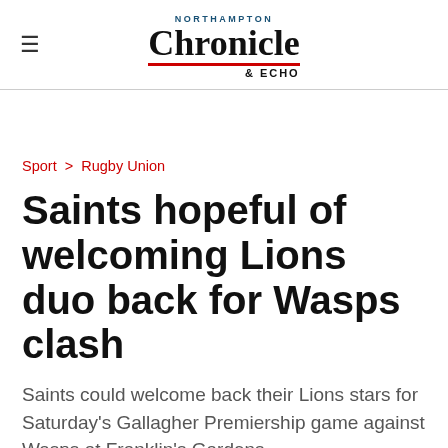Northampton Chronicle & Echo
Sport > Rugby Union
Saints hopeful of welcoming Lions duo back for Wasps clash
Saints could welcome back their Lions stars for Saturday's Gallagher Premiership game against Wasps at Franklin's Gardens.